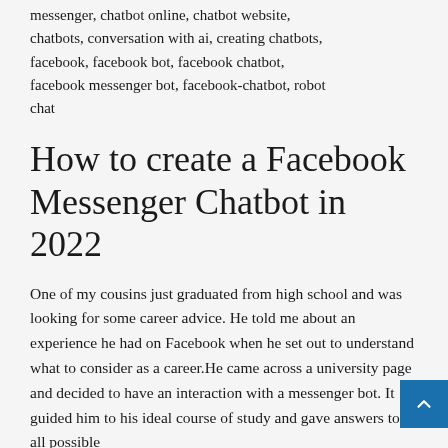messenger, chatbot online, chatbot website, chatbots, conversation with ai, creating chatbots, facebook, facebook bot, facebook chatbot, facebook messenger bot, facebook-chatbot, robot chat
How to create a Facebook Messenger Chatbot in 2022
One of my cousins just graduated from high school and was looking for some career advice. He told me about an experience he had on Facebook when he set out to understand what to consider as a career.He came across a university page and decided to have an interaction with a messenger bot. It guided him to his ideal course of study and gave answers to all possible